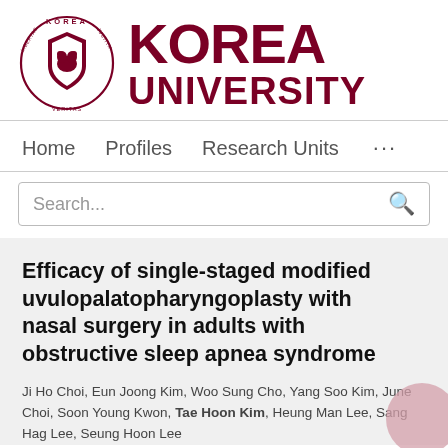[Figure (logo): Korea University logo with circular seal on left and KOREA UNIVERSITY text in dark red on right]
Home   Profiles   Research Units   ...
Search...
Efficacy of single-staged modified uvulopalatopharyngoplasty with nasal surgery in adults with obstructive sleep apnea syndrome
Ji Ho Choi, Eun Joong Kim, Woo Sung Cho, Yang Soo Kim, June Choi, Soon Young Kwon, Tae Hoon Kim, Heung Man Lee, Sang Hag Lee, Seung Hoon Lee